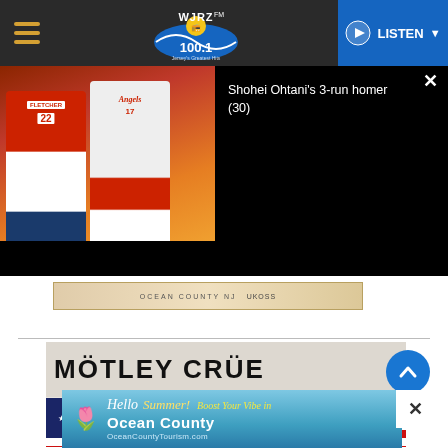WJRZ 100.1 — Jersey's Greatest Hits — LISTEN
[Figure (screenshot): Video thumbnail showing baseball players in Angels uniforms (including jersey #22 FLETCHER) with fiery background, and video title 'Shohei Ohtani's 3-run homer (30)' overlaid on dark right panel. Close (x) button visible top right.]
Shohei Ohtani's 3-run homer (30)
[Figure (photo): Advertisement banner strip for Ocean County NJ, partially visible, beige/tan background]
[Figure (photo): Concert promotional image for Mötley Crüe with large bold text 'MÖTLEY CRÜE' and American flag red-stripe/stars graphic below]
[Figure (photo): Bottom advertisement: 'Hello Summer! Boost Your Vibe in Ocean County — OceanCountyTourism.com' with beach/sky background and starfish graphic, with close (x) button]